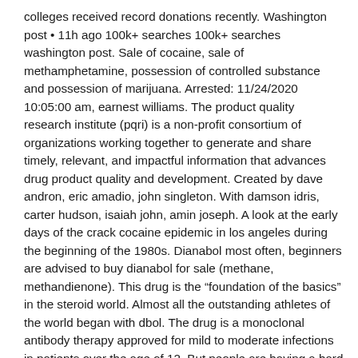colleges received record donations recently. Washington post • 11h ago 100k+ searches 100k+ searches washington post. Sale of cocaine, sale of methamphetamine, possession of controlled substance and possession of marijuana. Arrested: 11/24/2020 10:05:00 am, earnest williams. The product quality research institute (pqri) is a non-profit consortium of organizations working together to generate and share timely, relevant, and impactful information that advances drug product quality and development. Created by dave andron, eric amadio, john singleton. With damson idris, carter hudson, isaiah john, amin joseph. A look at the early days of the crack cocaine epidemic in los angeles during the beginning of the 1980s. Dianabol most often, beginners are advised to buy dianabol for sale (methane, methandienone). This drug is the “foundation of the basics” in the steroid world. Almost all the outstanding athletes of the world began with dbol. The drug is a monoclonal antibody therapy approved for mild to moderate infections in patients over the age of 12. But people are having a hard time getting past one part of the experimental medication from eli lilly. Cognitive-behavioral therapy (cbt) was developed as a method